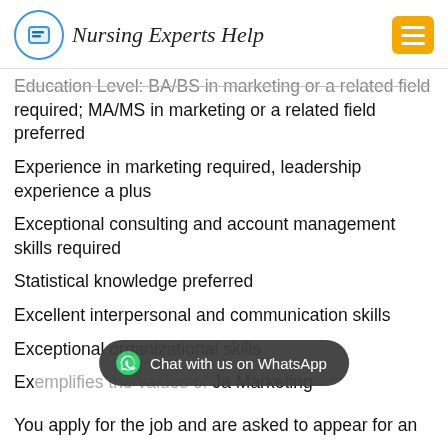Nursing Experts Help
Education Level: BA/BS in marketing or a related field required; MA/MS in marketing or a related field preferred
Experience in marketing required, leadership experience a plus
Exceptional consulting and account management skills required
Statistical knowledge preferred
Excellent interpersonal and communication skills
Exceptional organizational skills
Ex... Marketing
You apply for the job and are asked to appear for an